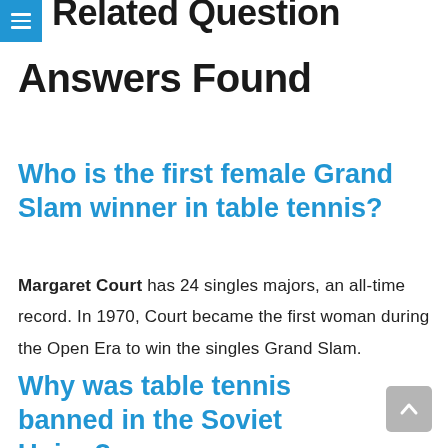Related Question Answers Found
Answers Found
Who is the first female Grand Slam winner in table tennis?
Margaret Court has 24 singles majors, an all-time record. In 1970, Court became the first woman during the Open Era to win the singles Grand Slam.
Why was table tennis banned in the Soviet Union?